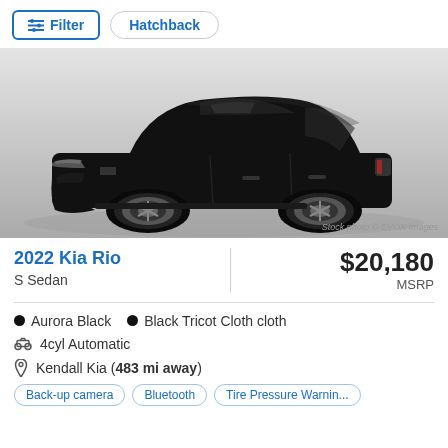[Figure (screenshot): Filter button and Hatchback pill filter at the top of a car listing page]
[Figure (photo): Black 2022 Kia Rio S Sedan on a grey gradient background. Stock photo © EVOX Images watermark visible.]
2022 Kia Rio
S Sedan
$20,180 MSRP
Aurora Black   Black Tricot Cloth cloth
4cyl Automatic
Kendall Kia (483 mi away)
Back-up camera   Bluetooth   Tire Pressure Warnin...